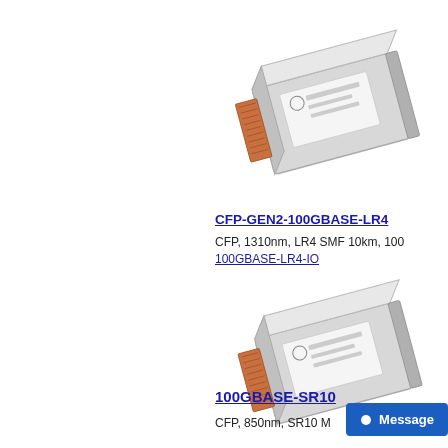[Figure (photo): CFP-GEN2-100GBASE-LR4 optical transceiver module, silver/metallic rectangular hardware, angled view showing connector pins]
CFP-GEN2-100GBASE-LR4
CFP, 1310nm, LR4 SMF 10km, 100GBASE-LR4-IO
[Figure (photo): 100GBASE-SR10 CFP optical transceiver module, silver/metallic rectangular hardware, angled view showing connector pins]
100GBASE-SR10
CFP, 850nm, SR10 M... 100